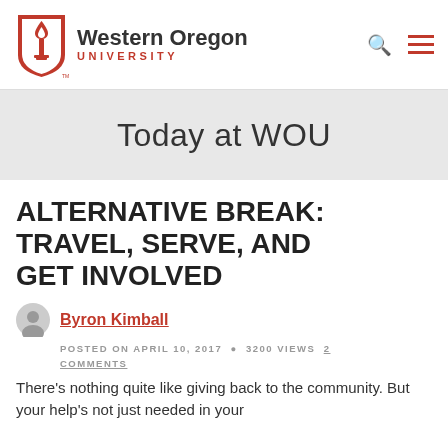Western Oregon University
Today at WOU
ALTERNATIVE BREAK: TRAVEL, SERVE, AND GET INVOLVED
Byron Kimball
POSTED ON APRIL 10, 2017  3200 VIEWS  2 COMMENTS
There's nothing quite like giving back to the community. But your help's not just needed in your